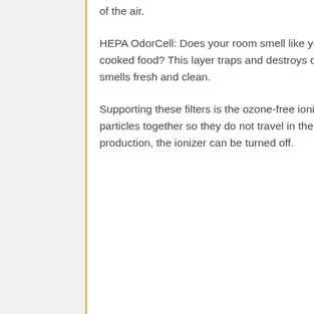of the air.
HEPA OdorCell: Does your room smell like your pet after you bathe him/her? Or maybe it is the cooked food? This layer traps and destroys odor and molecular levels so your room always smells fresh and clean.
Supporting these filters is the ozone-free ionizer that releases negative ions and clamps dust particles together so they do not travel in the air. But if you still have doubts about ozone production, the ionizer can be turned off.